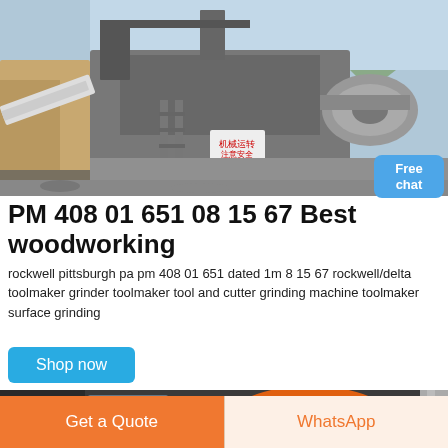[Figure (photo): Industrial quarry crusher/grinding machine equipment with metal structure, conveyor belt, motor, safety signs, mountains and sky in background]
Free chat
PM 408 01 651 08 15 67 Best woodworking
rockwell pittsburgh pa pm 408 01 651 dated 1m 8 15 67 rockwell/delta toolmaker grinder toolmaker tool and cutter grinding machine toolmaker surface grinding
Shop now
[Figure (photo): Close-up of industrial machinery with orange belt/ring component and Chinese text visible]
Get a Quote
WhatsApp